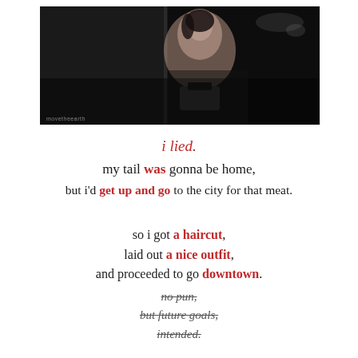[Figure (photo): Black and white photograph of a woman looking down, dark moody lighting, with watermark text 'movetheearth' in lower left corner]
i lied.
my tail was gonna be home,
but i'd get up and go to the city for that meat.

so i got a haircut,
laid out a nice outfit,
and proceeded to go downtown.
no pun,
but future goals,
intended.